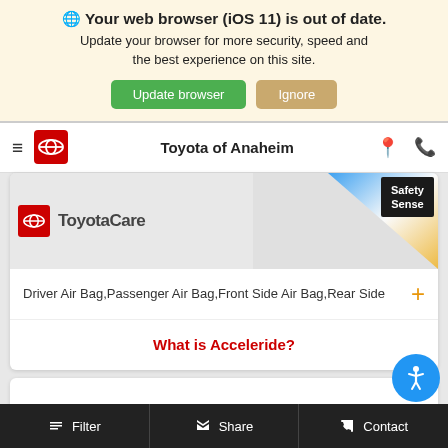🌐 Your web browser (iOS 11) is out of date. Update your browser for more security, speed and the best experience on this site.
Update browser | Ignore
Toyota of Anaheim
[Figure (screenshot): Partial product image area showing ToyotaCare logo and Safety Sense badge with colorful triangle graphic]
Driver Air Bag,Passenger Air Bag,Front Side Air Bag,Rear Side +
What is Acceleride?
Filter | Share | Contact